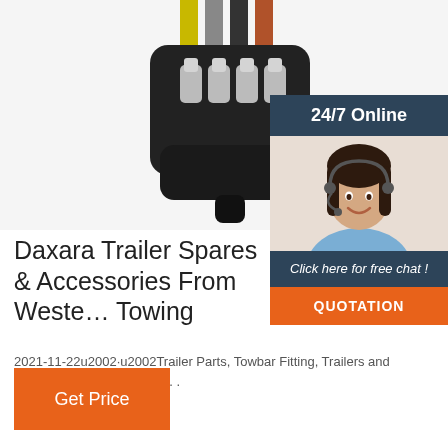[Figure (photo): Close-up photo of a black 4-pin trailer connector plug with metal pins against a white background]
[Figure (photo): Chat support widget with '24/7 Online' header, photo of smiling female customer service agent wearing headset, 'Click here for free chat!' message, and orange QUOTATION button]
Daxara Trailer Spares & Accessories From Western Towing
2021-11-22u2002·u2002Trailer Parts, Towbar Fitting, Trailers and Spares. Search Products . . . . ×
Get Price